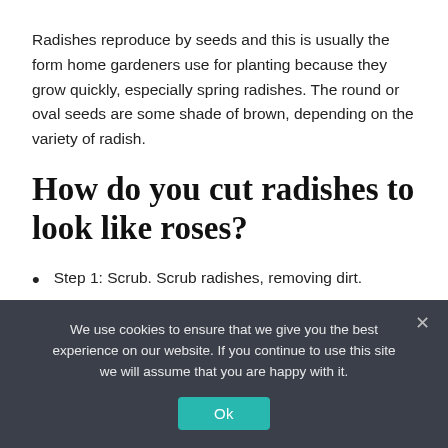Radishes reproduce by seeds and this is usually the form home gardeners use for planting because they grow quickly, especially spring radishes. The round or oval seeds are some shade of brown, depending on the variety of radish.
How do you cut radishes to look like roses?
Step 1: Scrub. Scrub radishes, removing dirt.
Step 2: Chop. Chop tops and bottom root off.
We use cookies to ensure that we give you the best experience on our website. If you continue to use this site we will assume that you are happy with it.